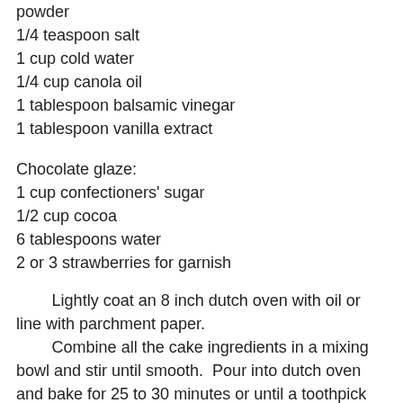powder
1/4 teaspoon salt
1 cup cold water
1/4 cup canola oil
1 tablespoon balsamic vinegar
1 tablespoon vanilla extract
Chocolate glaze:
1 cup confectioners' sugar
1/2 cup cocoa
6 tablespoons water
2 or 3 strawberries for garnish
Lightly coat an 8 inch dutch oven with oil or line with parchment paper.
Combine all the cake ingredients in a mixing bowl and stir until smooth.  Pour into dutch oven and bake for 25 to 30 minutes or until a toothpick inserted in the center comes out clean.
Cool in dutch oven for 10 minutes.  Remove from oven and cool completely.
When cake has cooled, whisk together the three glaze ingredients. Discard...